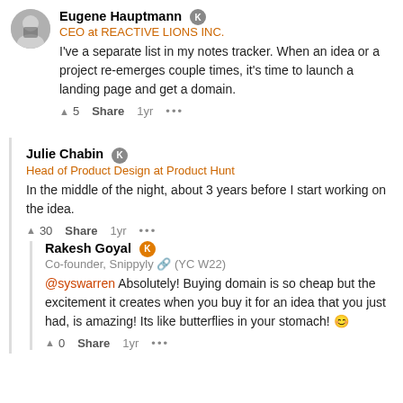Eugene Hauptmann - CEO at REACTIVE LIONS INC. - I've a separate list in my notes tracker. When an idea or a project re-emerges couple times, it's time to launch a landing page and get a domain. ▲ 5  Share  1yr  ...
Julie Chabin - Head of Product Design at Product Hunt - In the middle of the night, about 3 years before I start working on the idea. ▲ 30  Share  1yr  ...
Rakesh Goyal - Co-founder, Snippyly 🔗 (YC W22) - @syswarren Absolutely! Buying domain is so cheap but the excitement it creates when you buy it for an idea that you just had, is amazing! Its like butterflies in your stomach! 😊 ▲ 0  Share  1yr  ...